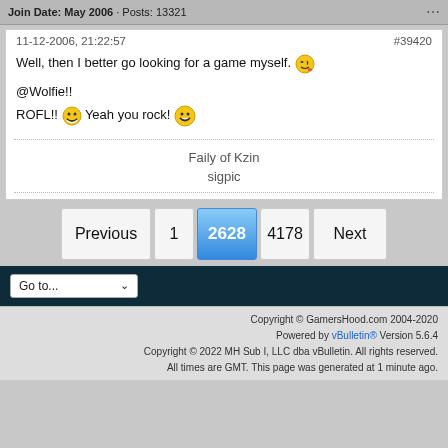Join Date: May 2006 · Posts: 13321
11-12-2006, 21:22:57
#39420
Well, then I better go looking for a game myself. 😜
@Wolfie!!
ROFL!! 😂 Yeah you rock! 😁
Faily of Kzin
sigpic
Previous  1  2628  4178  Next
Go to...
Copyright © GamersHood.com 2004-2020
Powered by vBulletin® Version 5.6.4
Copyright © 2022 MH Sub I, LLC dba vBulletin. All rights reserved.
All times are GMT. This page was generated at 1 minute ago.